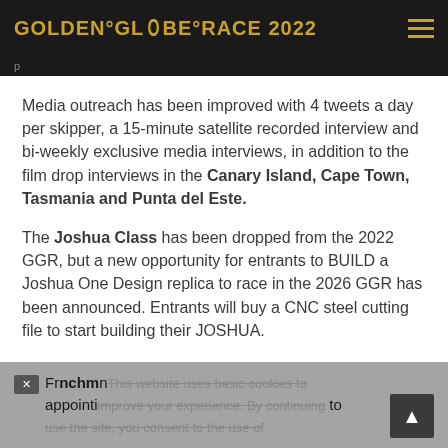GOLDEN°GLOBE°RACE 2022
Media outreach has been improved with 4 tweets a day per skipper, a 15-minute satellite recorded interview and bi-weekly exclusive media interviews, in addition to the film drop interviews in the Canary Island, Cape Town, Tasmania and Punta del Este.
The Joshua Class has been dropped from the 2022 GGR, but a new opportunity for entrants to BUILD a Joshua One Design replica to race in the 2026 GGR has been announced. Entrants will buy a CNC steel cutting file to start building their JOSHUA.
Franchise officers. Best basic cookies to improve your experience. By continuing to use the site, you consent to the use of